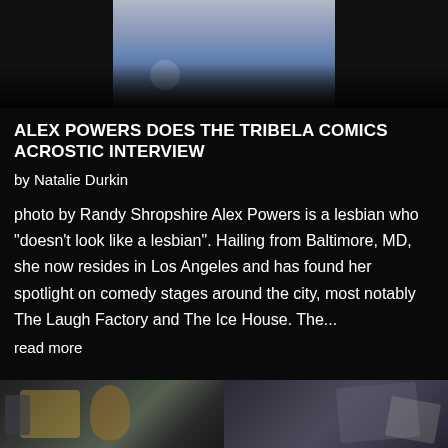[Figure (photo): Partial photo showing jeans/lower body of a person against dark background]
ALEX POWERS DOES THE TRIBELA COMICS ACROSTIC INTERVIEW
by Natalie Durkin
photo by Randy Shropshire Alex Powers is a lesbian who "doesn't look like a lesbian". Hailing from Baltimore, MD, she now resides in Los Angeles and has found her spotlight on comedy stages around the city, most notably The Laugh Factory and The Ice House. The...
read more
[Figure (photo): Partial photo at bottom of page showing two people in a room with artwork/posters visible]